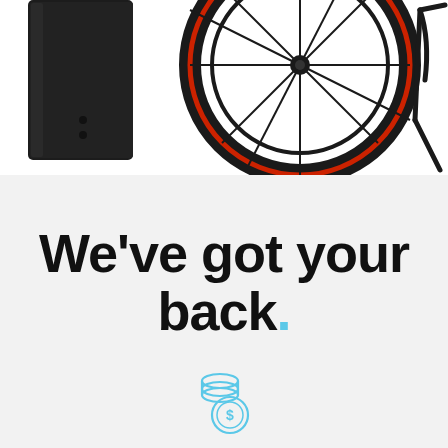[Figure (photo): Top portion of page showing bicycle parts on white background: a black rectangular object on the left, a bicycle wheel with red stripe in the center, and bicycle frame/stand on the right]
We've got your back.
[Figure (illustration): Light blue icon of stacked coins with a dollar sign coin in front]